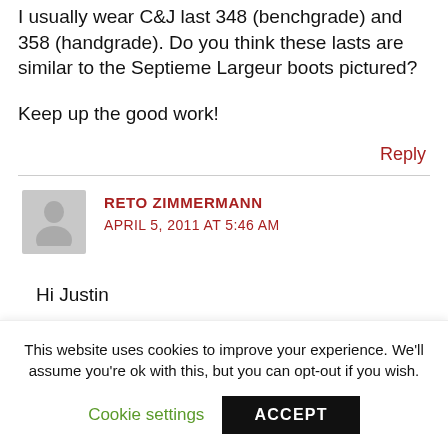I usually wear C&J last 348 (benchgrade) and 358 (handgrade). Do you think these lasts are similar to the Septieme Largeur boots pictured?
Keep up the good work!
Reply
RETO ZIMMERMANN
APRIL 5, 2011 AT 5:46 AM
Hi Justin
This website uses cookies to improve your experience. We'll assume you're ok with this, but you can opt-out if you wish.
Cookie settings
ACCEPT